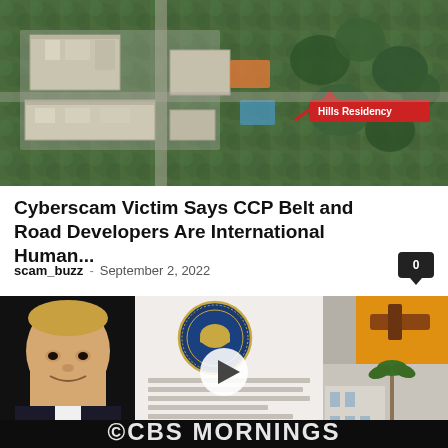[Figure (photo): Aerial satellite view of buildings and green trees, with a red label 'Hills Residency' and a red arrow pointing to a location]
Cyberscam Victim Says CCP Belt and Road Developers Are International Human...
scam_buzz - September 2, 2022
[Figure (screenshot): CBS Mornings news video thumbnail showing Donald Trump on the left, a US government official seal document in the center with a play button overlay, and a gavel on orange background top right, a building bottom right. CBS MORNINGS logo at bottom.]